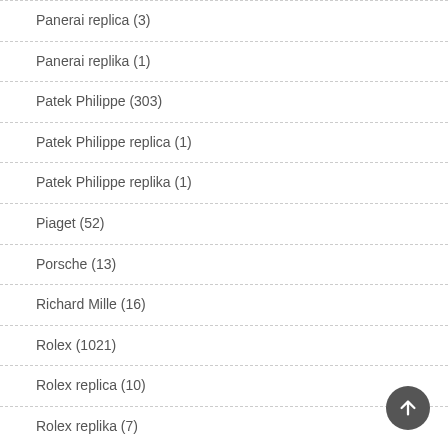Panerai replica (3)
Panerai replika (1)
Patek Philippe (303)
Patek Philippe replica (1)
Patek Philippe replika (1)
Piaget (52)
Porsche (13)
Richard Mille (16)
Rolex (1021)
Rolex replica (10)
Rolex replika (7)